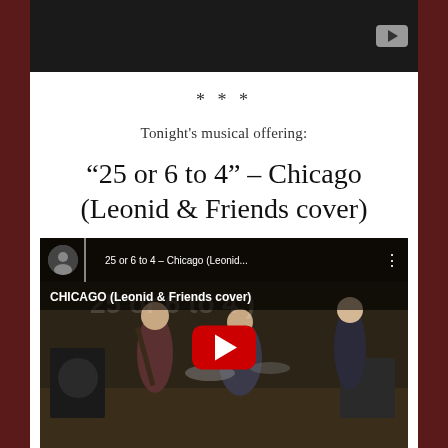[Figure (screenshot): YouTube video thumbnail at top, partially visible, dark background with YouTube icon in top right corner]
***
Tonight's musical offering:
“25 or 6 to 4” – Chicago (Leonid & Friends cover)
[Figure (screenshot): YouTube video thumbnail showing musicians performing - band playing in a studio setting with title '25 or 6 to 4 - Chicago (Leonid...' and 'CHICAGO (Leonid & Friends cover)' overlay text, with large red YouTube play button in center]